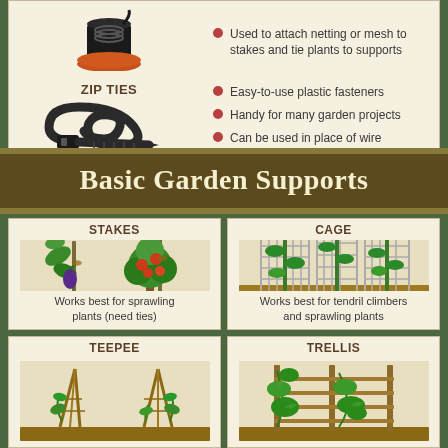[Figure (illustration): A black spool of gardening wire/twine on an orange base, used to attach netting or mesh to stakes]
Used to attach netting or mesh to stakes and tie plants to supports
ZIP TIES
[Figure (illustration): A black plastic zip tie formed in a loop]
Easy-to-use plastic fasteners
Handy for many garden projects
Can be used in place of wire
Basic Garden Supports
STAKES
[Figure (illustration): Two plants supported by stakes in soil — an eggplant and a tomato plant]
Works best for sprawling plants (need ties)
CAGE
[Figure (illustration): Three cylindrical wire cages with climbing plants growing through them in soil]
Works best for tendril climbers and sprawling plants
TEEPEE
[Figure (illustration): Teepee-style garden support with plants climbing up]
TRELLIS
[Figure (illustration): Trellis support structure with climbing leafy plants]